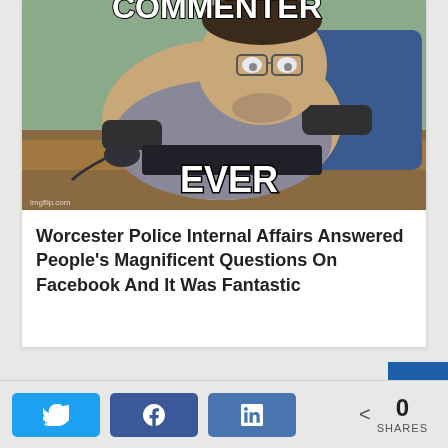[Figure (illustration): South Park animated meme image showing a fat character sitting at a computer, text reads 'COMMENTER EVER' with imgflip.com watermark]
Worcester Police Internal Affairs Answered People's Magnificent Questions On Facebook And It Was Fantastic
N 0 SHARES (social share buttons: Twitter, Facebook, LinkedIn)